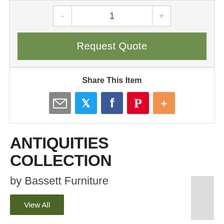[Figure (screenshot): Quantity selector with minus button, input showing '1', and plus button]
[Figure (screenshot): Green 'Request Quote' button]
Share This Item
[Figure (screenshot): Social share icons: email (grey), Twitter (blue), Facebook (blue), Pinterest (red), More (orange)]
ANTIQUITIES COLLECTION
by Bassett Furniture
[Figure (screenshot): Green 'View All' button]